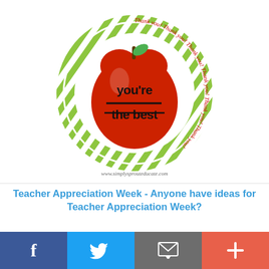[Figure (illustration): Teacher appreciation apple graphic with 'you're the best' text inside a red apple on a green chevron circle background with 'Thank you!' text around the ring. URL watermark: www.simplysprouteducate.com]
Teacher Appreciation Week - Anyone have ideas for Teacher Appreciation Week?
[Figure (illustration): Screen-Free Week logo with 'screen-free week' text in blue and green, and a yellow electrical plug/outlet emoji shape]
[Figure (infographic): Social sharing footer bar with Facebook (blue), Twitter (light blue), Email (grey), and More/Plus (coral) buttons]